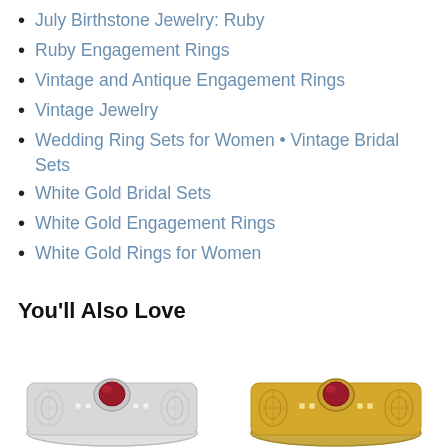July Birthstone Jewelry: Ruby
Ruby Engagement Rings
Vintage and Antique Engagement Rings
Vintage Jewelry
Wedding Ring Sets for Women • Vintage Bridal Sets
White Gold Bridal Sets
White Gold Engagement Rings
White Gold Rings for Women
You'll Also Love
[Figure (photo): Two vintage-style ruby engagement rings side by side — one white gold and one yellow gold, each with a round ruby center stone and filigree band detailing with small diamonds.]